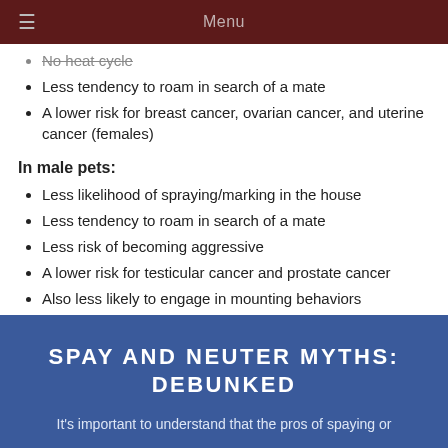Menu
No heat cycle (strikethrough)
Less tendency to roam in search of a mate
A lower risk for breast cancer, ovarian cancer, and uterine cancer (females)
In male pets:
Less likelihood of spraying/marking in the house
Less tendency to roam in search of a mate
Less risk of becoming aggressive
A lower risk for testicular cancer and prostate cancer
Also less likely to engage in mounting behaviors
SPAY AND NEUTER MYTHS: DEBUNKED
It's important to understand that the pros of spaying or